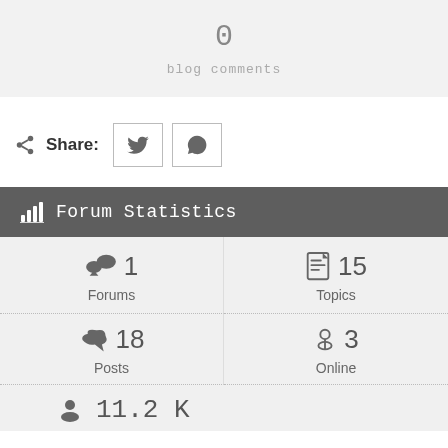0
blog comments
Share:
Forum Statistics
1 Forums
15 Topics
18 Posts
3 Online
11.2 K